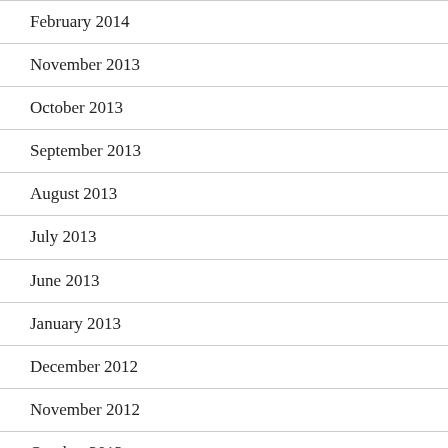February 2014
November 2013
October 2013
September 2013
August 2013
July 2013
June 2013
January 2013
December 2012
November 2012
October 2012